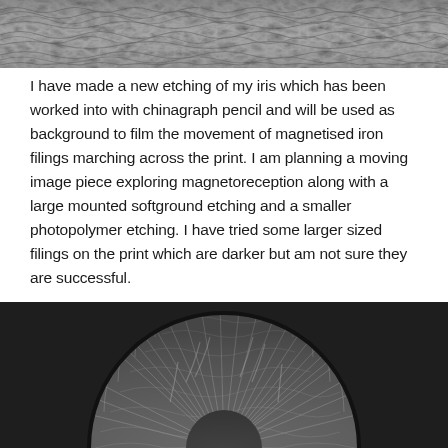[Figure (photo): Close-up grayscale photograph of iron filings or textured surface with swirling, feather-like patterns, cropped at top of page]
I have made a new etching of my iris which has been worked into with chinagraph pencil and will be used as background to film the movement of magnetised iron filings marching across the print. I am planning a moving image piece exploring magnetoreception along with a large mounted softground etching and a smaller photopolymer etching. I have tried some larger sized filings on the print which are darker but am not sure they are successful.
[Figure (photo): Grayscale photograph showing a circular etching of an iris with detailed line work and texture on a dark background, partially cropped showing the top half]